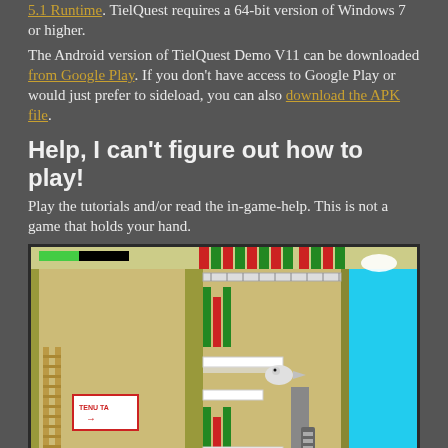5.1 Runtime. TielQuest requires a 64-bit version of Windows 7 or higher.
The Android version of TielQuest Demo V11 can be downloaded from Google Play. If you don't have access to Google Play or would just prefer to sideload, you can also download the APK file.
Help, I can't figure out how to play!
Play the tutorials and/or read the in-game-help. This is not a game that holds your hand.
[Figure (screenshot): Screenshot of TielQuest gameplay showing a platformer level with a bird character, green/red columns, platforms, a ladder, a sign reading TENU TA with an arrow, and a blue sky area on the right.]
[Figure (screenshot): Screenshot of TielQuest gameplay showing a dungeon/underground level with brown brick textures, red elements, and a cyan/blue element at bottom left.]